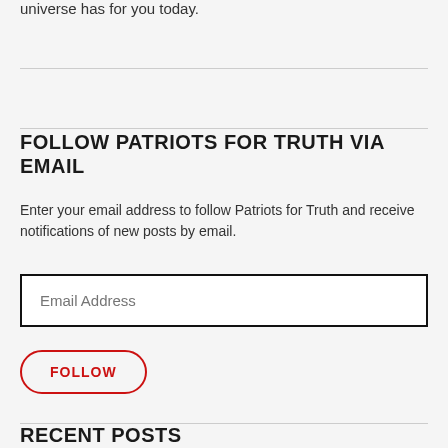universe has for you today.
FOLLOW PATRIOTS FOR TRUTH VIA EMAIL
Enter your email address to follow Patriots for Truth and receive notifications of new posts by email.
RECENT POSTS